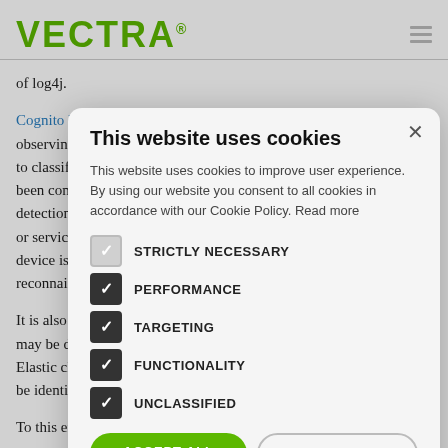VECTRA
of log4j.
Cognito Detect h... observing netwo... to classify the tr... been compromis... detections, latera... or service accoun... device is compro... reconnaissance a...
It is also worth no... may be deep with... Elastic cluster, a... be identified as w...
To this end, it would be recommended to find those hosts on
This website uses cookies
This website uses cookies to improve user experience. By using our website you consent to all cookies in accordance with our Cookie Policy. Read more
STRICTLY NECESSARY
PERFORMANCE
TARGETING
FUNCTIONALITY
UNCLASSIFIED
ACCEPT ALL
DECLINE ALL
SHOW DETAILS